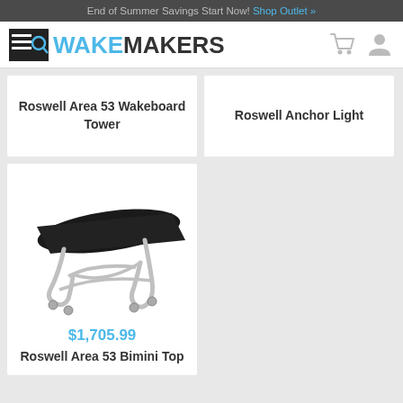End of Summer Savings Start Now! Shop Outlet »
[Figure (logo): WakeMakers logo with search/menu icon and blue text]
Roswell Area 53 Wakeboard Tower
Roswell Anchor Light
[Figure (photo): Roswell Area 53 Bimini Top product photo - black canopy with chrome frame]
$1,705.99
Roswell Area 53 Bimini Top